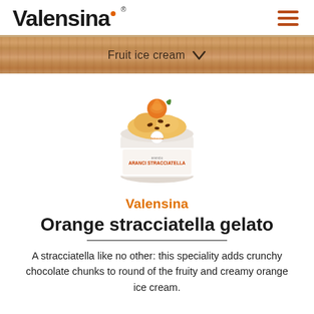Valensina
Fruit ice cream
[Figure (photo): A tub of Valensina Orange stracciatella gelato ice cream product]
Valensina
Orange stracciatella gelato
A stracciatella like no other: this speciality adds crunchy chocolate chunks to round of the fruity and creamy orange ice cream.